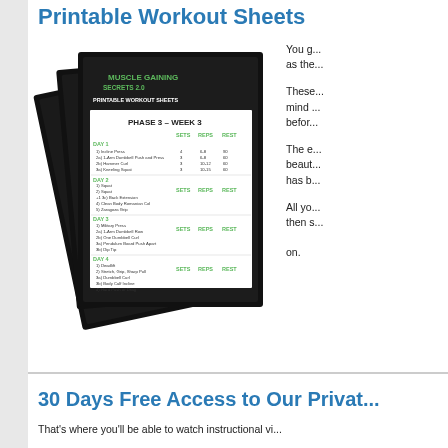Printable Workout Sheets
[Figure (photo): Stack of Muscle Gaining Secrets 2.0 Printable Workout Sheets showing Phase 3 - Week 3 with Days 1-4, sets, reps, and rest columns]
You g... as the...
These... mind ... befor...
The e... beaut... has b...
All yo... then s... on.
30 Days Free Access to Our Privat...
That's where you'll be able to watch instructional vi...